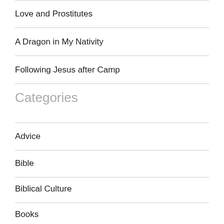Love and Prostitutes
A Dragon in My Nativity
Following Jesus after Camp
Categories
Advice
Bible
Biblical Culture
Books
CBS Journal